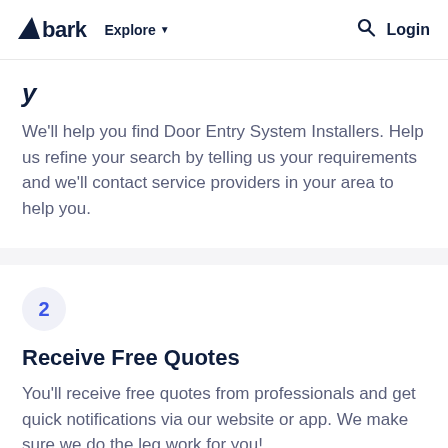bark  Explore  Login
We'll help you find Door Entry System Installers. Help us refine your search by telling us your requirements and we'll contact service providers in your area to help you.
2
Receive Free Quotes
You'll receive free quotes from professionals and get quick notifications via our website or app. We make sure we do the leg work for you!